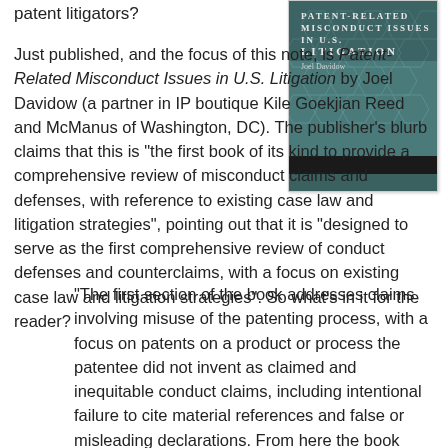patent litigators?
[Figure (illustration): Book cover of 'Patent-Related Misconduct Issues in U.S. Litigation' by Joel Davidow. Teal/dark green cover with hexagonal pattern and the title in white/light text at the top, author name below.]
Just published, and the focus of this note, is Patent-Related Misconduct Issues in U.S. Litigation by Joel Davidow (a partner in IP boutique Kile Goekjian Reed and McManus of Washington, DC). The publisher's blurb claims that this is "the first book of its kind to provide a comprehensive review of misconduct claims and defenses, with reference to existing case law and litigation strategies", pointing out that it is "designed to serve as the first comprehensive review of conduct defenses and counterclaims, with a focus on existing case law and litigation strategies". So what's in it for the reader?
"The first section of the book addresses claims involving misuse of the patenting process, with a focus on patents on a product or process the patentee did not invent as claimed and inequitable conduct claims, including intentional failure to cite material references and false or misleading declarations. From here the book